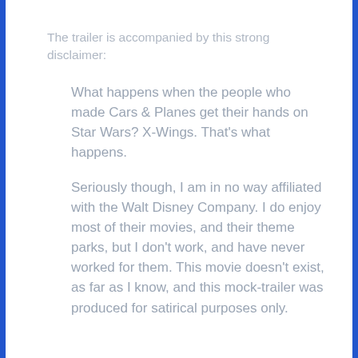The trailer is accompanied by this strong disclaimer:
What happens when the people who made Cars & Planes get their hands on Star Wars? X-Wings. That's what happens.
Seriously though, I am in no way affiliated with the Walt Disney Company. I do enjoy most of their movies, and their theme parks, but I don't work, and have never worked for them. This movie doesn't exist, as far as I know, and this mock-trailer was produced for satirical purposes only.